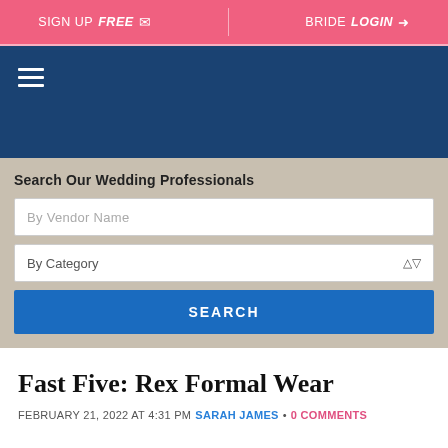SIGN UP FREE  •  BRIDE LOGIN
[Figure (screenshot): Dark blue navigation bar with hamburger menu icon (three horizontal lines)]
Search Our Wedding Professionals
By Vendor Name
By Category
SEARCH
Fast Five: Rex Formal Wear
FEBRUARY 21, 2022 AT 4:31 PM SARAH JAMES • 0 COMMENTS